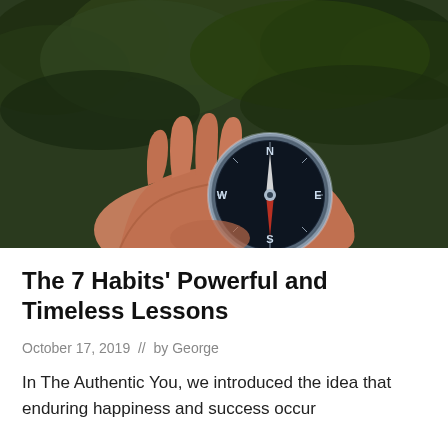[Figure (photo): A hand holding a compass with a dark forested background. The compass face is dark/navy with visible cardinal directions (N, S, E, W) and a metallic needle. The compass has a silver rim.]
The 7 Habits' Powerful and Timeless Lessons
October 17, 2019  //  by George
In The Authentic You, we introduced the idea that enduring happiness and success occur